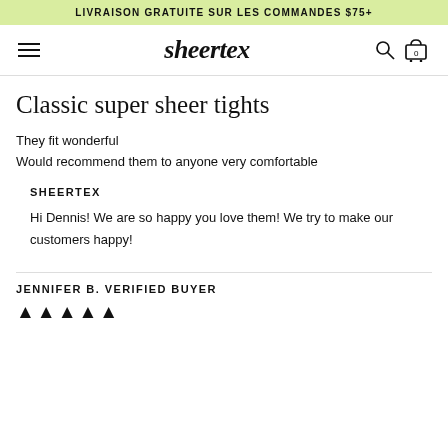LIVRAISON GRATUITE SUR LES COMMANDES $75+
sheertex
Classic super sheer tights
They fit wonderful
Would recommend them to anyone very comfortable
SHEERTEX
Hi Dennis! We are so happy you love them! We try to make our customers happy!
JENNIFER B. VERIFIED BUYER